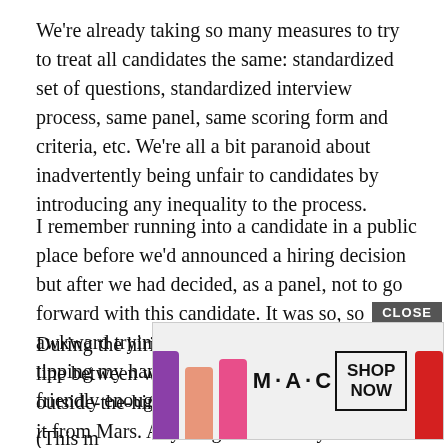We're already taking so many measures to try to treat all candidates the same: standardized set of questions, standardized interview process, same panel, same scoring form and criteria, etc. We're all a bit paranoid about inadvertently being unfair to candidates by introducing any inequality to the process.
I remember running into a candidate in a public place before we'd announced a hiring decision but after we had decided, as a panel, not to go forward with this candidate. It was so, so awkward trying to converse with her without tipping my hand by being too friendly, not friendly enough, etc.
During the hiring process, I want to keep the line between within-the-hiring-process and outside-the-hiring process so bright you can see it from Mars. Anything else is really not fair to
(This m
[Figure (other): MAC Cosmetics advertisement showing lipsticks in purple, peach, pink, and red colors, with MAC logo and SHOP NOW button, partially overlaying the article text. A CLOSE button appears at top right of the ad.]